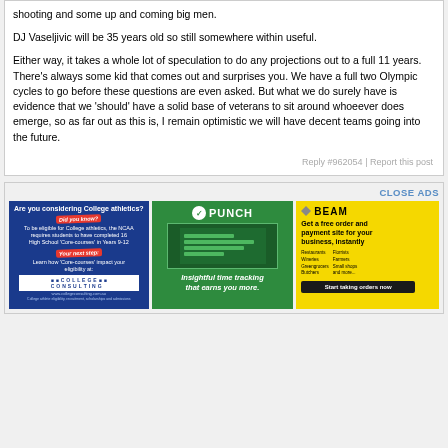shooting and some up and coming big men.
DJ Vaseljivic will be 35 years old so still somewhere within useful.
Either way, it takes a whole lot of speculation to do any projections out to a full 11 years. There's always some kid that comes out and surprises you. We have a full two Olympic cycles to go before these questions are even asked. But what we do surely have is evidence that we 'should' have a solid base of veterans to sit around whoeever does emerge, so as far out as this is, I remain optimistic we will have decent teams going into the future.
Reply #962054 | Report this post
[Figure (advertisement): College Consulting ad on blue background about NCAA Core-courses eligibility]
[Figure (advertisement): PUNCH - Insightful time tracking that earns you more, green background]
[Figure (advertisement): BEAM - Get a free order and payment site for your business, instantly, yellow background]